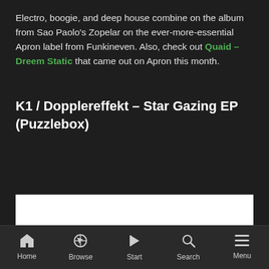Electro, boogie, and deep house combine on the album from Sao Paolo's Zopelar on the ever-more-essential Apron label from Funkineven. Also, check out Quaid – Dreem Static that came out on Apron this month.
K1 / Dopplereffekt – Star Gazing EP (Puzzlebox)
[Figure (other): White image strip at the bottom of the content area]
Home  Browse  Start  Search  Menu